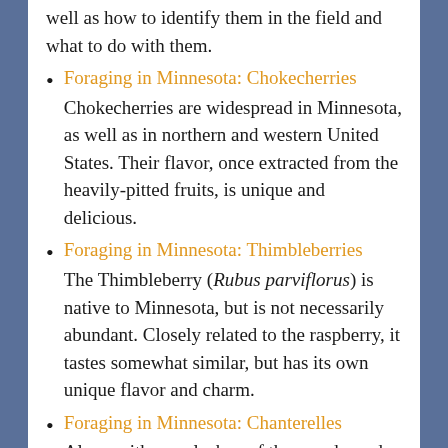well as how to identify them in the field and what to do with them.
Foraging in Minnesota: Chokecherries
Chokecherries are widespread in Minnesota, as well as in northern and western United States. Their flavor, once extracted from the heavily-pitted fruits, is unique and delicious.
Foraging in Minnesota: Thimbleberries
The Thimbleberry (Rubus parviflorus) is native to Minnesota, but is not necessarily abundant. Closely related to the raspberry, it tastes somewhat similar, but has its own unique flavor and charm.
Foraging in Minnesota: Chanterelles
Along with morels, hen of the woods, and a few others, chanterelles are one of the most